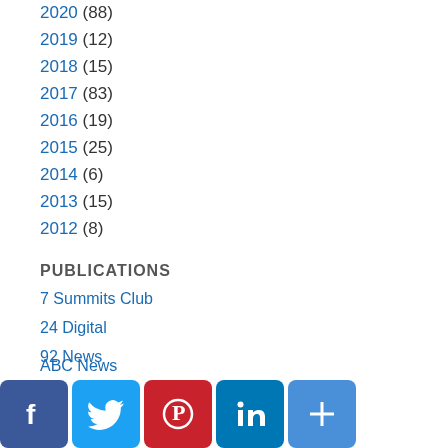2020 (88)
2019 (12)
2018 (15)
2017 (83)
2016 (19)
2015 (25)
2014 (6)
2013 (15)
2012 (8)
PUBLICATIONS
7 Summits Club
24 Digital
92 News
ABC News